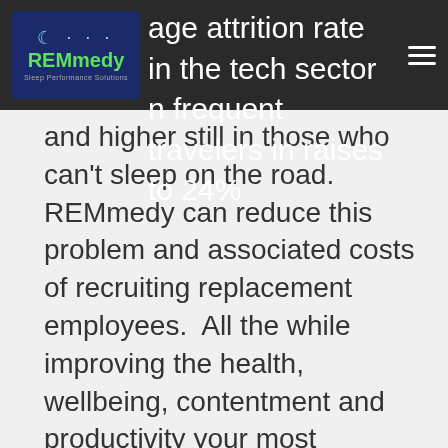REMmedy
The average attrition rate in the tech sector rises in frequent travelers in raises to 24% and higher still in those who can't sleep on the road.  REMmedy can reduce this problem and associated costs of recruiting replacement employees.  All the while improving the health, wellbeing, contentment and productivity your most valuable people.
To build a first of its kind system we partnered with a world leader in medical device design, world's largest and most innovative fragrance developer and world's foremost conditioning authority.  We live by our credo:  Performance starts with